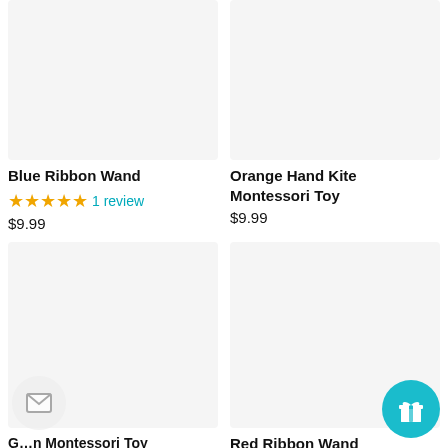[Figure (photo): Blue Ribbon Wand product image placeholder, light gray background]
Blue Ribbon Wand
★★★★★ 1 review
$9.99
[Figure (photo): Orange Hand Kite Montessori Toy product image placeholder, light gray background]
Orange Hand Kite Montessori Toy
$9.99
[Figure (photo): Green Montessori Toy product image placeholder, light gray background]
Green Montessori Toy
[Figure (photo): Red Ribbon Wand product image placeholder, light gray background]
Red Ribbon Wand